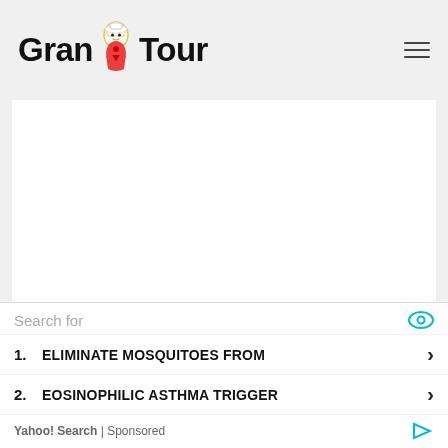Grand Tour
[Figure (other): White blank rectangular content area placeholder]
In a recent chat with Food & Wine,
[Figure (screenshot): Yahoo Search sponsored ad overlay with search items: 1. ELIMINATE MOSQUITOES FROM, 2. EOSINOPHILIC ASTHMA TRIGGER, Yahoo! Search | Sponsored]